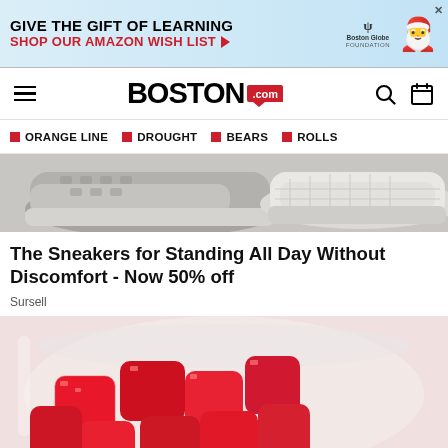[Figure (screenshot): Advertisement banner: 'GIVE THE GIFT OF LEARNING / SHOP OUR AMAZON WISH LIST' with Boston Globe Foundation logo and Santa Claus illustration]
BOSTON .com
ORANGE LINE
DROUGHT
BEARS
ROLLS
[Figure (photo): Close-up photo of gray and white sneakers on a light wooden surface]
The Sneakers for Standing All Day Without Discomfort - Now 50% off
Sursell
[Figure (photo): Photo of red gummy bear candies in a glass jar]